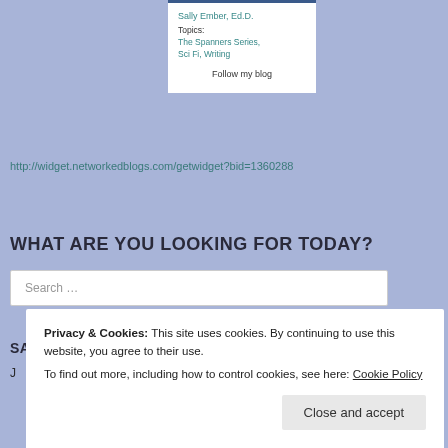Sally Ember, Ed.D.
Topics: The Spanners Series, Sci Fi, Writing
Follow my blog
http://widget.networkedblogs.com/getwidget?bid=1360288
WHAT ARE YOU LOOKING FOR TODAY?
Search …
SALLY EMBER'S BLOG POSTS BY THE MONTH
J
Privacy & Cookies: This site uses cookies. By continuing to use this website, you agree to their use.
To find out more, including how to control cookies, see here: Cookie Policy
Close and accept